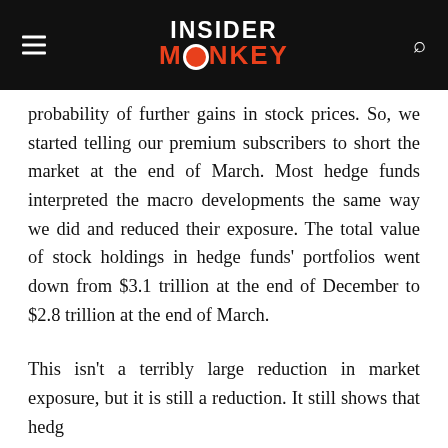INSIDER MONKEY
probability of further gains in stock prices. So, we started telling our premium subscribers to short the market at the end of March. Most hedge funds interpreted the macro developments the same way we did and reduced their exposure. The total value of stock holdings in hedge funds' portfolios went down from $3.1 trillion at the end of December to $2.8 trillion at the end of March.
This isn't a terribly large reduction in market exposure, but it is still a reduction. It still shows that hedge
Insider Monkey has long been a believer of imitating